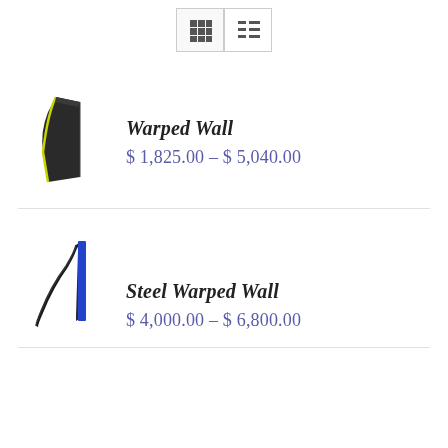[Figure (screenshot): View toggle toolbar with grid view and list view icons]
Warped Wall
$ 1,825.00 – $ 5,040.00
Steel Warped Wall
$ 4,000.00 – $ 6,800.00